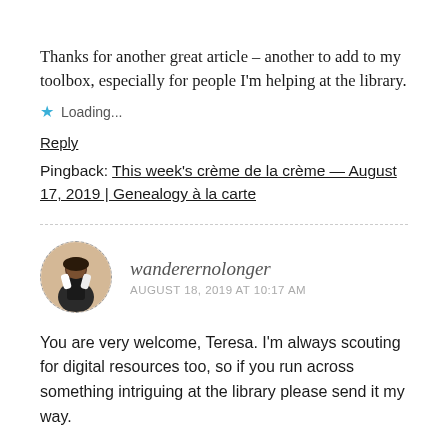Thanks for another great article – another to add to my toolbox, especially for people I'm helping at the library.
Loading...
Reply
Pingback: This week's crème de la crème — August 17, 2019 | Genealogy à la carte
wanderernolonger
AUGUST 18, 2019 AT 10:17 AM
You are very welcome, Teresa. I'm always scouting for digital resources too, so if you run across something intriguing at the library please send it my way.